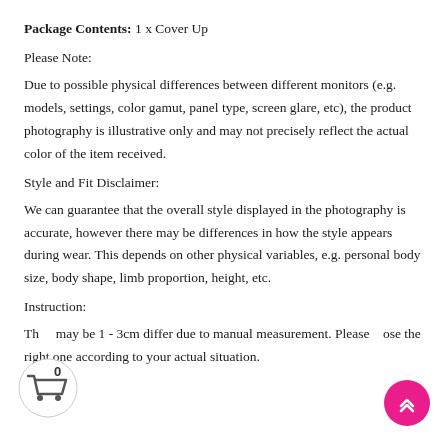Package Contents: 1 x Cover Up
Please Note:
Due to possible physical differences between different monitors (e.g. models, settings, color gamut, panel type, screen glare, etc), the product photography is illustrative only and may not precisely reflect the actual color of the item received.
Style and Fit Disclaimer:
We can guarantee that the overall style displayed in the photography is accurate, however there may be differences in how the style appears during wear. This depends on other physical variables, e.g. personal body size, body shape, limb proportion, height, etc.
Instruction:
There may be 1 - 3cm differ due to manual measurement. Please choose the right one according to your actual situation.